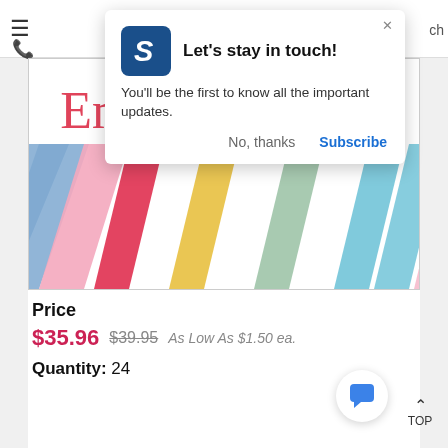[Figure (screenshot): Website notification popup: 'Let's stay in touch!' with logo, message, No thanks and Subscribe buttons]
Let's stay in touch!
You'll be the first to know all the important updates.
No, thanks   Subscribe
[Figure (illustration): Emily Williams cursive script text in red/pink over diagonal colorful stripes product image]
Price
$35.96  $39.95  As Low As $1.50 ea.
Quantity:  24